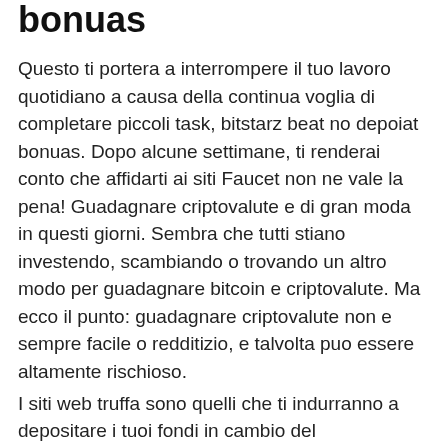bonuas
Questo ti portera a interrompere il tuo lavoro quotidiano a causa della continua voglia di completare piccoli task, bitstarz beat no depoiat bonuas. Dopo alcune settimane, ti renderai conto che affidarti ai siti Faucet non ne vale la pena! Guadagnare criptovalute e di gran moda in questi giorni. Sembra che tutti stiano investendo, scambiando o trovando un altro modo per guadagnare bitcoin e criptovalute. Ma ecco il punto: guadagnare criptovalute non e sempre facile o redditizio, e talvolta puo essere altamente rischioso.
I siti web truffa sono quelli che ti indurranno a depositare i tuoi fondi in cambio del completamento di piccole attivita, come giocare, bitstarz beat no depoiat bonuas. FaucetCrypto has the option to withdraw coins as your favourite cryptocurrency and there are quite a few to choose from, bitstarz